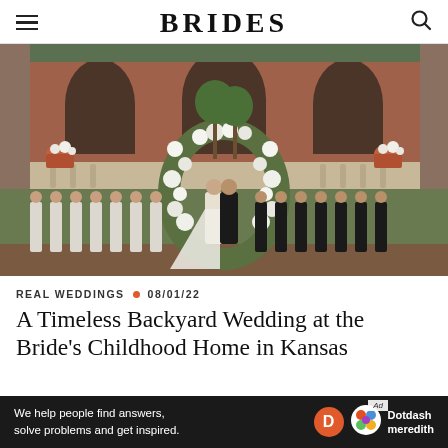BRIDES
[Figure (photo): Wedding ceremony photo showing bride and groom kissing under a large floral arch decorated with white flowers and greenery, with bridesmaids in white dresses on the left and groomsmen in black suits on the right, in front of a brick mansion with stone balustrade]
REAL WEDDINGS • 08/01/22
A Timeless Backyard Wedding at the Bride's Childhood Home in Kansas
We help people find answers, solve problems and get inspired.  Dotdash meredith